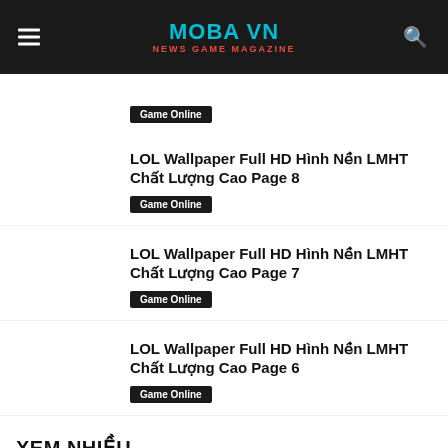MOBA VN — NEWS GAME MAGAZINE
(partial article title cut off at top)
Game Online
LOL Wallpaper Full HD Hình Nền LMHT Chất Lượng Cao Page 8
Game Online
LOL Wallpaper Full HD Hình Nền LMHT Chất Lượng Cao Page 7
Game Online
LOL Wallpaper Full HD Hình Nền LMHT Chất Lượng Cao Page 6
Game Online
XEM NHIỀU